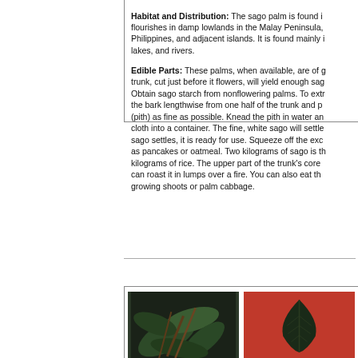Habitat and Distribution: The sago palm is found in... flourishes in damp lowlands in the Malay Peninsula, Philippines, and adjacent islands. It is found mainly in lakes, and rivers. Edible Parts: These palms, when available, are of g... trunk, cut just before it flowers, will yield enough sago... Obtain sago starch from nonflowering palms. To extra... the bark lengthwise from one half of the trunk and po... (pith) as fine as possible. Knead the pith in water and... cloth into a container. The fine, white sago will settle i... sago settles, it is ready for use. Squeeze off the exce... as pancakes or oatmeal. Two kilograms of sago is the... kilograms of rice. The upper part of the trunk's core d... can roast it in lumps over a fire. You can also eat the... growing shoots or palm cabbage.
[Figure (photo): Two photographs of plant leaves. Left photo shows dark green leaves with brown stems against a dark background. Right photo shows a single dark leaf against a red/orange background.]